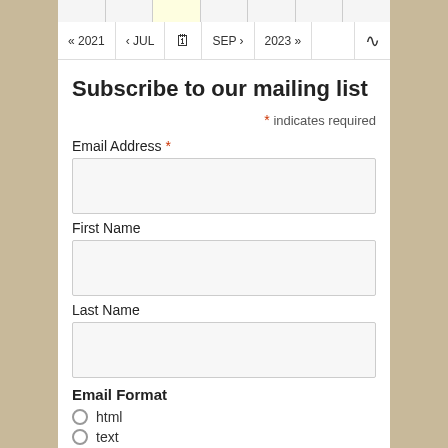[Figure (screenshot): Calendar navigation top cells row with one highlighted yellow cell]
[Figure (screenshot): Calendar navigation bar with buttons: « 2021, < JUL, calendar icon, SEP >, 2023 », and RSS icon]
Subscribe to our mailing list
* indicates required
Email Address *
First Name
Last Name
Email Format
html
text